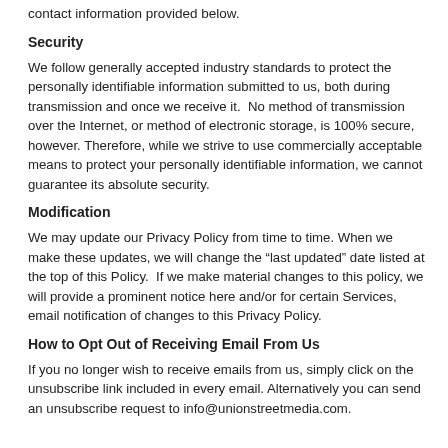contact information provided below.
Security
We follow generally accepted industry standards to protect the personally identifiable information submitted to us, both during transmission and once we receive it.  No method of transmission over the Internet, or method of electronic storage, is 100% secure, however. Therefore, while we strive to use commercially acceptable means to protect your personally identifiable information, we cannot guarantee its absolute security.
Modification
We may update our Privacy Policy from time to time. When we make these updates, we will change the “last updated” date listed at the top of this Policy.  If we make material changes to this policy, we will provide a prominent notice here and/or for certain Services, email notification of changes to this Privacy Policy.
How to Opt Out of Receiving Email From Us
If you no longer wish to receive emails from us, simply click on the unsubscribe link included in every email. Alternatively you can send an unsubscribe request to info@unionstreetmedia.com.